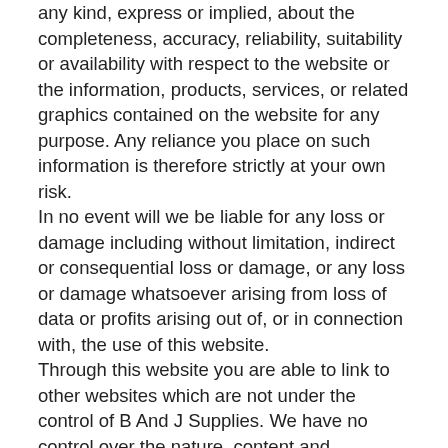any kind, express or implied, about the completeness, accuracy, reliability, suitability or availability with respect to the website or the information, products, services, or related graphics contained on the website for any purpose. Any reliance you place on such information is therefore strictly at your own risk. In no event will we be liable for any loss or damage including without limitation, indirect or consequential loss or damage, or any loss or damage whatsoever arising from loss of data or profits arising out of, or in connection with, the use of this website. Through this website you are able to link to other websites which are not under the control of B And J Supplies. We have no control over the nature, content and availability of those sites. The inclusion of any links does not necessarily imply a recommendation or endorse the views expressed within them. Every effort is made to keep the website up